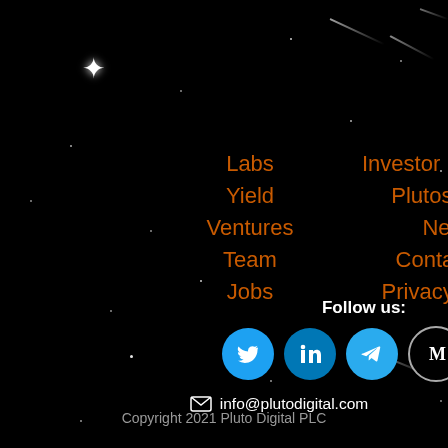Labs
Yield
Ventures
Team
Jobs
Investor Relations
Plutosphere
News
Contact Us
Privacy Policy
Follow us:
[Figure (infographic): Social media icons: Twitter, LinkedIn, Telegram, Medium, YouTube]
✉ info@plutodigital.com
Copyright 2021 Pluto Digital PLC